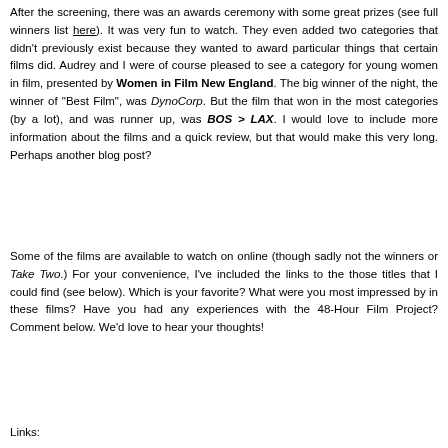After the screening, there was an awards ceremony with some great prizes (see full winners list here). It was very fun to watch. They even added two categories that didn't previously exist because they wanted to award particular things that certain films did. Audrey and I were of course pleased to see a category for young women in film, presented by Women in Film New England. The big winner of the night, the winner of "Best Film", was DynoCorp. But the film that won in the most categories (by a lot), and was runner up, was BOS > LAX. I would love to include more information about the films and a quick review, but that would make this very long. Perhaps another blog post?
Some of the films are available to watch on online (though sadly not the winners or Take Two.) For your convenience, I've included the links to the those titles that I could find (see below). Which is your favorite? What were you most impressed by in these films? Have you had any experiences with the 48-Hour Film Project? Comment below. We'd love to hear your thoughts!
Links: